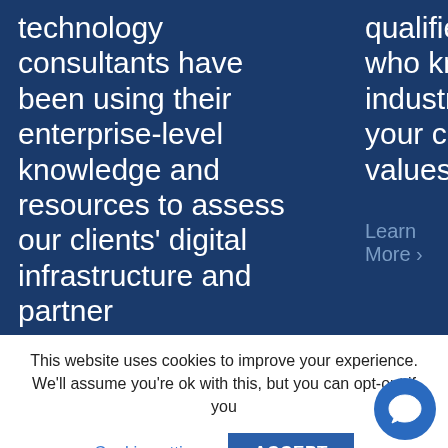technology consultants have been using their enterprise-level knowledge and resources to assess our clients' digital infrastructure and partner
qualified candidates who know your industry and share your company's values.
Learn More ›
This website uses cookies to improve your experience. We'll assume you're ok with this, but you can opt-out if you
Cookie settings
ACCEPT